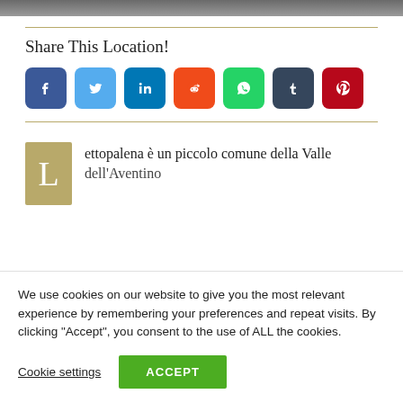[Figure (photo): Partial photo strip at top of page, dark outdoor scenery]
Share This Location!
[Figure (infographic): Row of 7 social sharing icon buttons: Facebook, Twitter, LinkedIn, Reddit, WhatsApp, Tumblr, Pinterest]
ettopalena è un piccolo comune della Valle dell'Aventino
We use cookies on our website to give you the most relevant experience by remembering your preferences and repeat visits. By clicking "Accept", you consent to the use of ALL the cookies.
Cookie settings
ACCEPT